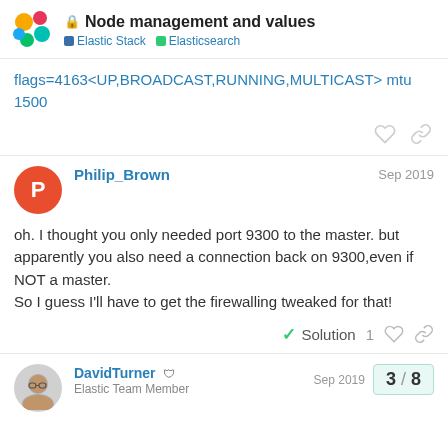Node management and values | Elastic Stack | Elasticsearch
flags=4163<UP,BROADCAST,RUNNING,MULTICAST> mtu 1500
Philip_Brown — Sep 2019

oh. I thought you only needed port 9300 to the master. but apparently you also need a connection back on 9300,even if NOT a master.
So I guess I'll have to get the firewalling tweaked for that!
DavidTurner — Elastic Team Member — Sep 2019
3 / 8